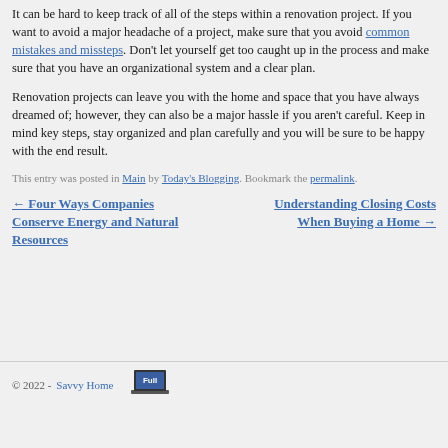It can be hard to keep track of all of the steps within a renovation project. If you want to avoid a major headache of a project, make sure that you avoid common mistakes and missteps. Don't let yourself get too caught up in the process and make sure that you have an organizational system and a clear plan.
Renovation projects can leave you with the home and space that you have always dreamed of; however, they can also be a major hassle if you aren't careful. Keep in mind key steps, stay organized and plan carefully and you will be sure to be happy with the end result.
This entry was posted in Main by Today's Blogging. Bookmark the permalink.
← Four Ways Companies Conserve Energy and Natural Resources
Understanding Closing Costs When Buying a Home →
© 2022 - Savvy Home